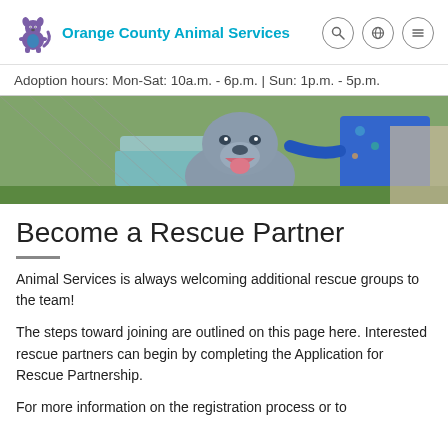Orange County Animal Services
Adoption hours: Mon-Sat: 10a.m. - 6p.m. | Sun: 1p.m. - 5p.m.
[Figure (photo): A smiling grey pit bull dog being held by a person wearing a blue vest, outdoors at an animal shelter facility with chain-link fencing and a blue barrel in the background.]
Become a Rescue Partner
Animal Services is always welcoming additional rescue groups to the team!
The steps toward joining are outlined on this page here. Interested rescue partners can begin by completing the Application for Rescue Partnership.
For more information on the registration process or to